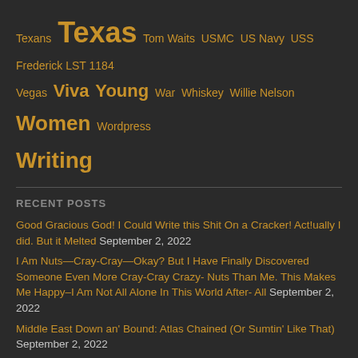Texans Texas Tom Waits USMC US Navy USS Frederick LST 1184 Vegas Viva Young War Whiskey Willie Nelson Women Wordpress Writing
RECENT POSTS
Good Gracious God! I Could Write this Shit On a Cracker! Act!ually I did. But it Melted September 2, 2022
I Am Nuts—Cray-Cray—Okay? But I Have Finally Discovered Someone Even More Cray-Cray Crazy- Nuts Than Me. This Makes Me Happy–I Am Not All Alone In This World After- All September 2, 2022
Middle East Down an' Bound: Atlas Chained (Or Sumtin' Like That) September 2, 2022
Huh??? WTF Wuz I Thinkin'? Drinkin'? Yeah. Most likely. September 2, 2022
My Mind Has Gone Astray. OK??? September 2, 2022
Whoops'E-Daisy–Lazy! Bat-Shit … gurr… I Lost my train… of thought. Way Too Crazy! Yes! I am an accident going somewhere to happen September 2, 2022
Willie And Patsy Cline September 2, 2022
Oh Why The Fuc Not? Why Not Re-Publish? September 2, 2022
Fuk Me! I'm Crazy! September 1, 2022